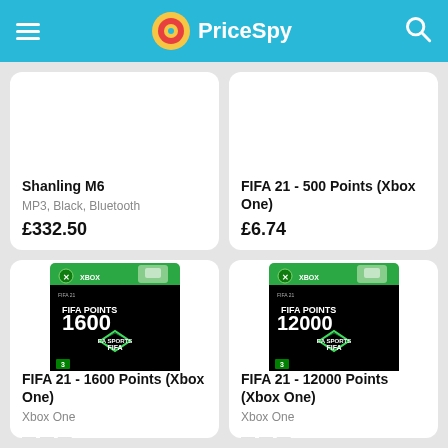PriceSpy
Shanling M6
MP3, Black, Bluetooth
£332.50
FIFA 21 - 500 Points (Xbox One)
£6.74
[Figure (photo): FIFA 21 - 1600 FIFA Points Xbox One game currency card with green Xbox branding and diamond FIFA logo]
FIFA 21 - 1600 Points (Xbox One)
Xbox One
[Figure (photo): FIFA 21 - 12000 FIFA Points Xbox One game currency card with green Xbox branding and diamond FIFA logo]
FIFA 21 - 12000 Points (Xbox One)
Xbox One